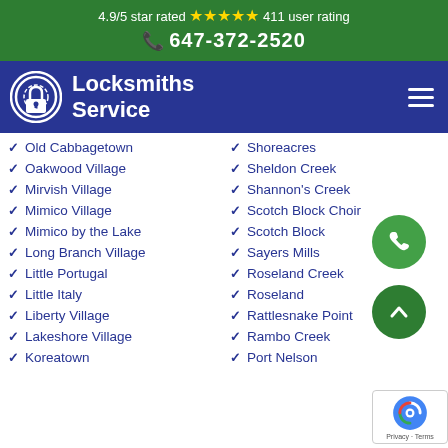4.9/5 star rated ★★★★★ 411 user rating
647-372-2520
Locksmiths Service
Old Cabbagetown
Oakwood Village
Mirvish Village
Mimico Village
Mimico by the Lake
Long Branch Village
Little Portugal
Little Italy
Liberty Village
Lakeshore Village
Koreatown
Shoreacres
Sheldon Creek
Shannon's Creek
Scotch Block Choir
Scotch Block
Sayers Mills
Roseland Creek
Roseland
Rattlesnake Point
Rambo Creek
Port Nelson